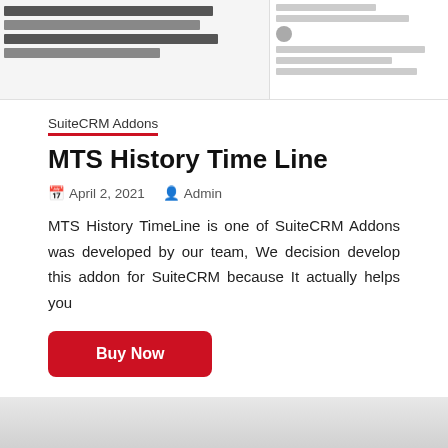[Figure (screenshot): Screenshot of SuiteCRM interface showing a panel with menu items on the left and a chat/activity log panel on the right]
SuiteCRM Addons
MTS History Time Line
April 2, 2021  Admin
MTS History TimeLine is one of SuiteCRM Addons was developed by our team, We decision develop this addon for SuiteCRM because It actually helps you
Buy Now
Search ...  Search